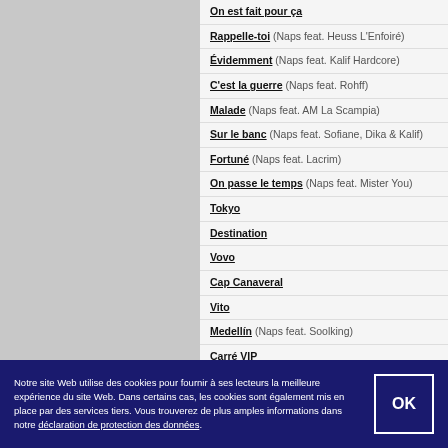On est fait pour ça
Rappelle-toi (Naps feat. Heuss L'Enfoiré)
Évidemment (Naps feat. Kalif Hardcore)
C'est la guerre (Naps feat. Rohff)
Malade (Naps feat. AM La Scampia)
Sur le banc (Naps feat. Sofiane, Dika & Kalif)
Fortuné (Naps feat. Lacrim)
On passe le temps (Naps feat. Mister You)
Tokyo
Destination
Vovo
Cap Canaveral
Vito
Medellín (Naps feat. Soolking)
Carré VIP
6.3 (Naps feat. Ninho)
Riz au lait (Kofs feat. Naps)
Pourcent (Naps feat. Maes)
Notre site Web utilise des cookies pour fournir à ses lecteurs la meilleure expérience du site Web. Dans certains cas, les cookies sont également mis en place par des services tiers. Vous trouverez de plus amples informations dans notre déclaration de protection des données.